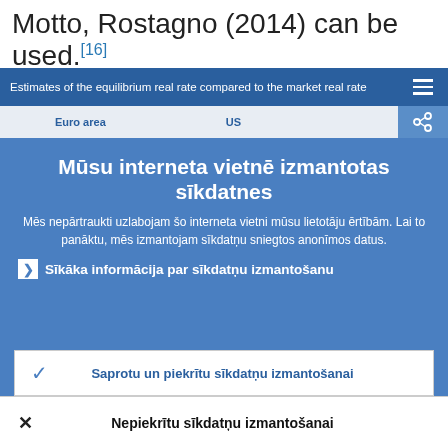Motto, Rostagno (2014) can be used.[16]
[Figure (screenshot): Navigation bar showing 'Estimates of the equilibrium real rate compared to the market real rate' with hamburger menu icon and share icon, with Euro area and US tabs below]
Mūsu interneta vietnē izmantotas sīkdatnes
Mēs nepārtraukti uzlabojam šo interneta vietni mūsu lietotāju ērtībām. Lai to panāktu, mēs izmantojam sīkdatņu sniegtos anonīmos datus.
Sīkāka informācija par sīkdatņu izmantošanu
Saprotu un piekrītu sīkdatņu izmantošanai
Nepiekrītu sīkdatņu izmantošanai